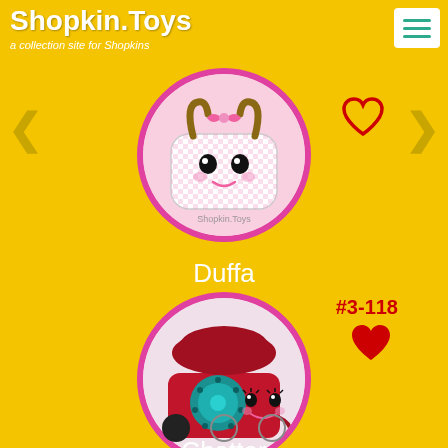Shopkin.Toys — a collection site for Shopkins
[Figure (illustration): Circular pink-bordered illustration of Duffa Shopkin character — a cute white duffle bag with a pink bow, brown handles, and cartoon face, with 'Shopkin.Toys' watermark at bottom]
Duffa
#3-118
[Figure (illustration): Circular pink-bordered illustration of Chatter Shopkin character — a red vintage rotary telephone with blue rotary dial and cartoon face with eyelashes]
Chatter